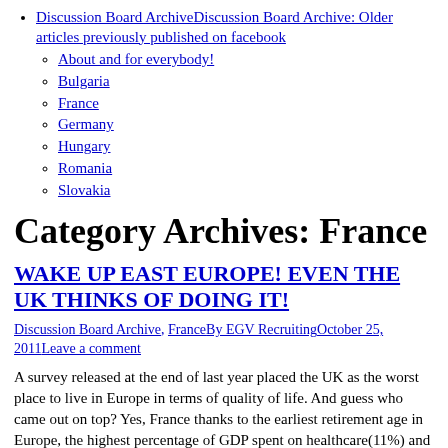Discussion Board ArchiveDiscussion Board Archive: Older articles previously published on facebook
About and for everybody!
Bulgaria
France
Germany
Hungary
Romania
Slovakia
Category Archives: France
WAKE UP EAST EUROPE! EVEN THE UK THINKS OF DOING IT!
Discussion Board Archive, FranceBy EGV RecruitingOctober 25, 2011Leave a comment
A survey released at the end of last year placed the UK as the worst place to live in Europe in terms of quality of life. And guess who came out on top? Yes, France thanks to the earliest retirement age in Europe, the highest percentage of GDP spent on healthcare(11%) and the longest life…